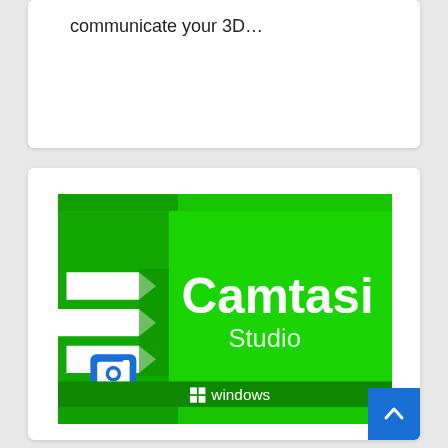communicate your 3D…
[Figure (logo): Camtasia Studio software logo on green background with white chevron arrows on the left, camera icon in bottom left corner, and Windows logo in a dark green bottom bar. Text reads 'Camtasia Studio' and 'windows'.]